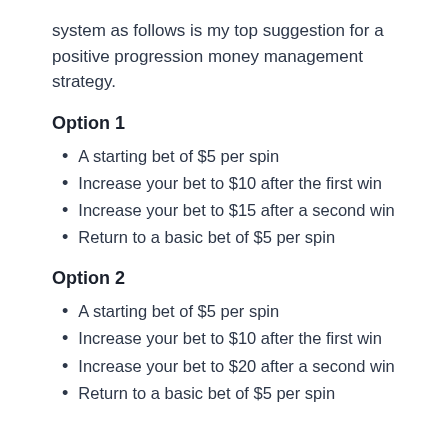system as follows is my top suggestion for a positive progression money management strategy.
Option 1
A starting bet of $5 per spin
Increase your bet to $10 after the first win
Increase your bet to $15 after a second win
Return to a basic bet of $5 per spin
Option 2
A starting bet of $5 per spin
Increase your bet to $10 after the first win
Increase your bet to $20 after a second win
Return to a basic bet of $5 per spin